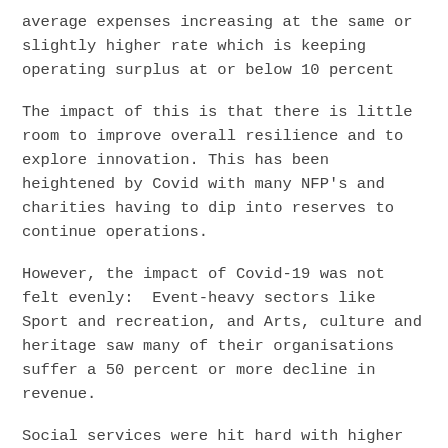average expenses increasing at the same or slightly higher rate which is keeping operating surplus at or below 10 percent
The impact of this is that there is little room to improve overall resilience and to explore innovation. This has been heightened by Covid with many NFP's and charities having to dip into reserves to continue operations.
However, the impact of Covid-19 was not felt evenly:  Event-heavy sectors like Sport and recreation, and Arts, culture and heritage saw many of their organisations suffer a 50 percent or more decline in revenue.
Social services were hit hard with higher demand for services and yet restrained by existing